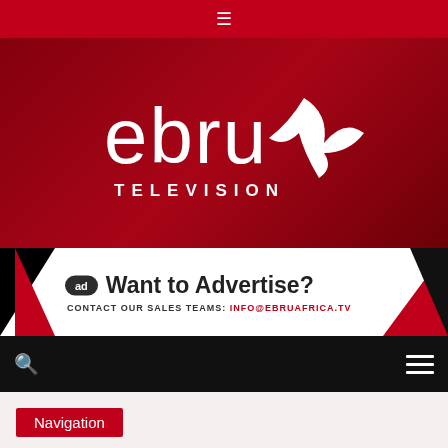☰
[Figure (logo): Ebru Television logo — white 'ebru' text with stylized leaf/wing mark and 'TELEVISION' below, on a dark red background with map and leaf overlay]
[Figure (infographic): Advertisement banner: 'ad' circle badge, 'Want to Advertise?' heading, 'CONTACT OUR SALES TEAMS: INFO@EBRUAFRICA.TV' subtext, with black and red geometric shapes on sides]
Navigation bar with search icon and hamburger menu
Navigation
Home ❯ Sports ❯
Team Boss says McLaren would welcome back Lewis